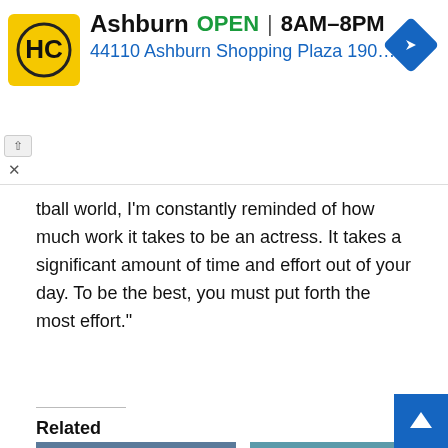[Figure (screenshot): Advertisement banner for Ashburn HC store showing logo, OPEN status, hours 8AM-8PM, address 44110 Ashburn Shopping Plaza 190, A..., and a blue navigation arrow icon]
tball world, I'm constantly reminded of how much work it takes to be an actress. It takes a significant amount of time and effort out of your day. To be the best, you must put forth the most effort."
Related
[Figure (photo): Man in red hoodie sitting on bench with basketball, locker room setting]
[Figure (photo): The Lincoln Lawyer - A Netflix Series poster with man in suit]
[Netflix] Hustle Movie Ending Explained: Will Stan join
Meet The Lincoln Lawyer Cast: Where Have You Seen